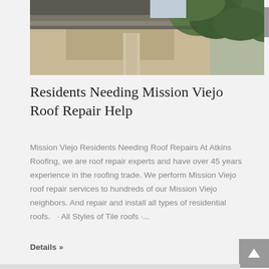[Figure (photo): Exterior roofline of a stucco building with palm trees in the background, viewed from below at an angle.]
Residents Needing Mission Viejo Roof Repair Help
Mission Viejo Residents Needing Roof Repairs At Atkins Roofing, we are roof repair experts and have over 45 years experience in the roofing trade. We perform Mission Viejo roof repair services to hundreds of our Mission Viejo neighbors. And repair and install all types of residential roofs.   · All Styles of Tile roofs ·...
Details »